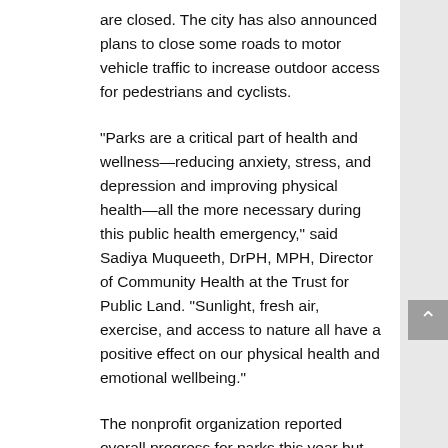are closed. The city has also announced plans to close some roads to motor vehicle traffic to increase outdoor access for pedestrians and cyclists.
“Parks are a critical part of health and wellness—reducing anxiety, stress, and depression and improving physical health—all the more necessary during this public health emergency,” said Sadiya Muqueeth, DrPH, MPH, Director of Community Health at the Trust for Public Land. “Sunlight, fresh air, exercise, and access to nature all have a positive effect on our physical health and emotional wellbeing.”
The nonprofit organization reported overall progress for parks this year but warned that city park systems have reached a critical tipping point, as widening inequities in equitable park access and COVID-related budget cuts risk irreversible damage in 2020 and beyond.